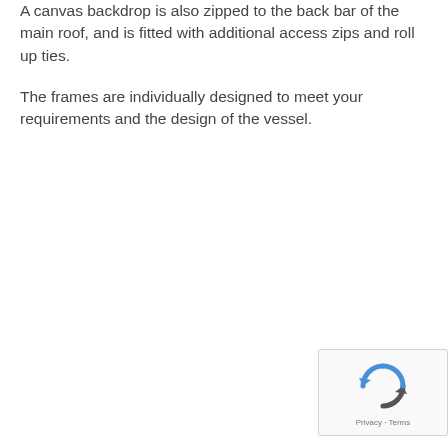A canvas backdrop is also zipped to the back bar of the main roof, and is fitted with additional access zips and roll up ties.
The frames are individually designed to meet your requirements and the design of the vessel.
[Figure (other): reCAPTCHA widget showing recycling arrows logo and 'Privacy · Terms' text]